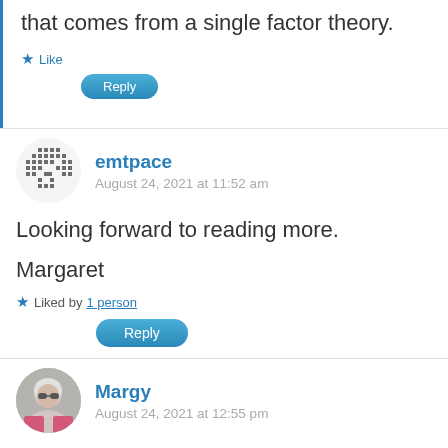that comes from a single factor theory.
★ Like
Reply
emtpace
August 24, 2021 at 11:52 am
Looking forward to reading more.

Margaret
★ Liked by 1 person
Reply
Margy
August 24, 2021 at 12:55 pm